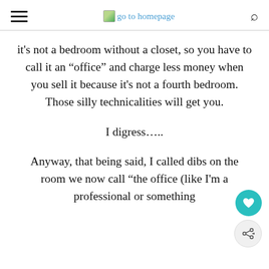go to homepage
it’s not a bedroom without a closet, so you have to call it an “office” and charge less money when you sell it because it’s not a fourth bedroom. Those silly technicalities will get you.
I digress…..
Anyway, that being said, I called dibs on the room we now call “the office (like I’m a professional or something